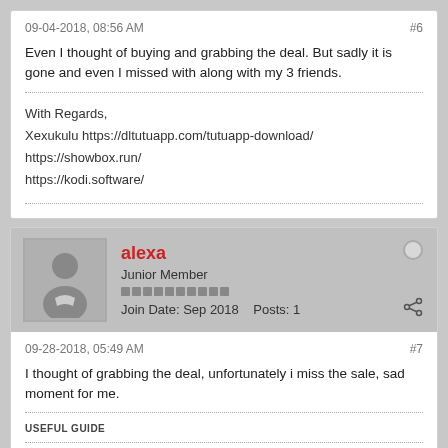09-04-2018, 08:56 AM
#6
Even I thought of buying and grabbing the deal. But sadly it is gone and even I missed with along with my 3 friends.
With Regards,
Xexukulu https://dltutuapp.com/tutuapp-download/
https://showbox.run/
https://kodi.software/
alexa
Junior Member
Join Date: Sep 2018   Posts: 1
09-28-2018, 05:49 AM
#7
I thought of grabbing the deal, unfortunately i miss the sale, sad moment for me.
USEFUL GUIDE